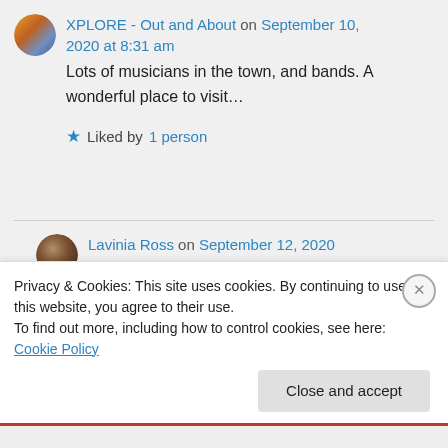XPLORE - Out and About on September 10, 2020 at 8:31 am
Lots of musicians in the town, and bands. A wonderful place to visit...
★ Liked by 1 person
Lavinia Ross on September 12, 2020 at 3:58 am
I'll be off WP for a little while. We
Privacy & Cookies: This site uses cookies. By continuing to use this website, you agree to their use.
To find out more, including how to control cookies, see here: Cookie Policy
Close and accept